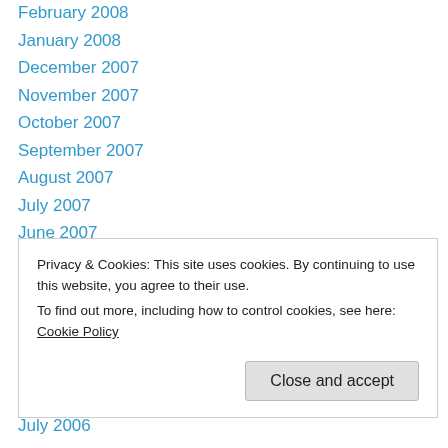February 2008
January 2008
December 2007
November 2007
October 2007
September 2007
August 2007
July 2007
June 2007
May 2007
April 2007
March 2007
February 2007
Privacy & Cookies: This site uses cookies. By continuing to use this website, you agree to their use.
To find out more, including how to control cookies, see here: Cookie Policy
July 2006